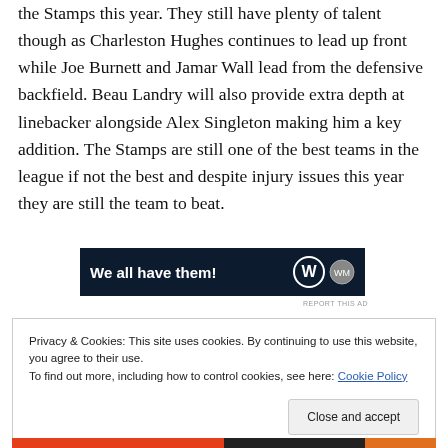the Stamps this year. They still have plenty of talent though as Charleston Hughes continues to lead up front while Joe Burnett and Jamar Wall lead from the defensive backfield. Beau Landry will also provide extra depth at linebacker alongside Alex Singleton making him a key addition. The Stamps are still one of the best teams in the league if not the best and despite injury issues this year they are still the team to beat.
[Figure (other): Advertisement banner with dark navy background reading 'We all have them!' with a W logo and circular icon on the right side.]
REPORT THIS AD
Privacy & Cookies: This site uses cookies. By continuing to use this website, you agree to their use.
To find out more, including how to control cookies, see here: Cookie Policy
Close and accept